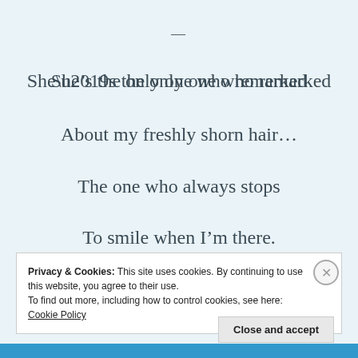—
She’s the only one who remarked
About my freshly shorn hair…
The one who always stops
To smile when I’m there.
Privacy & Cookies: This site uses cookies. By continuing to use this website, you agree to their use.
To find out more, including how to control cookies, see here: Cookie Policy
Close and accept